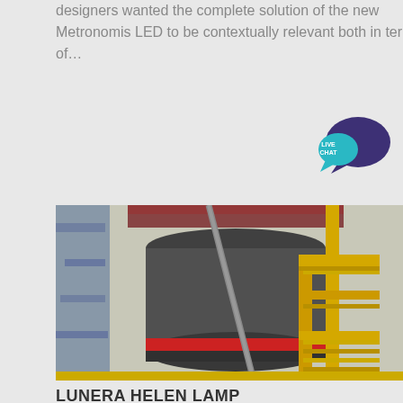designers wanted the complete solution of the new Metronomis LED to be contextually relevant both in terms of…
[Figure (photo): Industrial equipment photo showing a large cylindrical machine component with yellow metal scaffolding/stairs around it, outdoors industrial setting.]
LUNERA HELEN LAMP